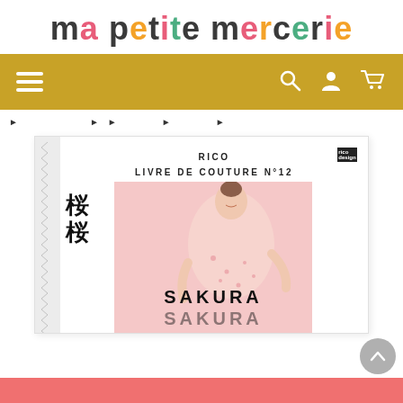ma petite mercerie
[Figure (screenshot): Golden navigation bar with hamburger menu on left and search, user, cart icons on right]
[Figure (screenshot): Breadcrumb navigation with arrow links]
[Figure (photo): Book cover: RICO LIVRE DE COUTURE N°12, Sakura Sakura, featuring a woman in a pink floral garment with Japanese kanji characters 桜桜]
[Figure (screenshot): Coral/salmon colored footer bar at bottom, scroll-to-top button]